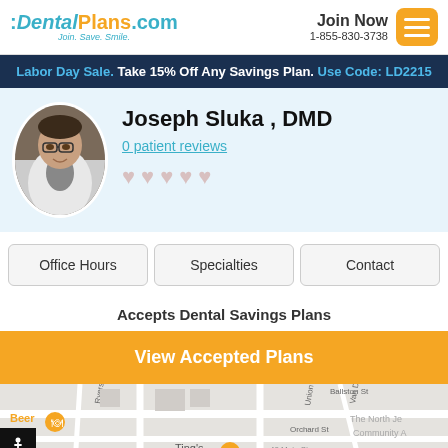:DentalPlans.com Join. Save. Smile. | Join Now 1-855-830-3738
Labor Day Sale. Take 15% Off Any Savings Plan. Use Code: LD2215
[Figure (photo): Headshot photo of Dr. Joseph Sluka, DMD in white coat]
Joseph Sluka , DMD
0 patient reviews
Office Hours | Specialties | Contact
Accepts Dental Savings Plans
View Accepted Plans
[Figure (map): Google Maps showing area with Ballston St, Orchard St, Union Ave, Van Dam, 40 Main St. Beer restaurant and Ting's restaurant shown.]